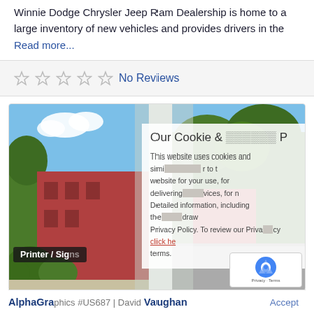Neighborhood. Winnie Dodge Chrysler Jeep Ram Dealership is home to a large inventory of new vehicles and provides drivers in the Read more...
No Reviews
[Figure (screenshot): A cookie and privacy policy overlay appearing on a business listing page. Shows a building exterior photo on the left and right, with a semi-transparent white overlay in the center containing text about cookie usage and a link. A 'Printer / Signs' label appears in the bottom left of the photo. A reCAPTCHA badge appears bottom right.]
AlphaGraphics #US687 | David Vaughan
Accept